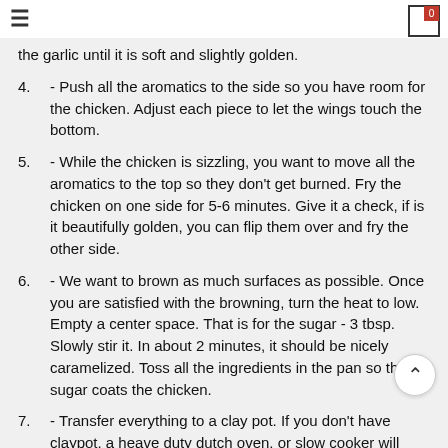≡  [cart icon: 0]
the garlic until it is soft and slightly golden.
4. - Push all the aromatics to the side so you have room for the chicken. Adjust each piece to let the wings touch the bottom.
5. - While the chicken is sizzling, you want to move all the aromatics to the top so they don't get burned. Fry the chicken on one side for 5-6 minutes. Give it a check, if is it beautifully golden, you can flip them over and fry the other side.
6. - We want to brown as much surfaces as possible. Once you are satisfied with the browning, turn the heat to low. Empty a center space. That is for the sugar - 3 tbsp. Slowly stir it. In about 2 minutes, it should be nicely caramelized. Toss all the ingredients in the pan so the sugar coats the chicken.
7. - Transfer everything to a clay pot. If you don't have claypot, a heave duty dutch oven, or slow cooker will work as well. If you use a regular pot, it is better be non-stic because the sauce is going to be thick and it will likely